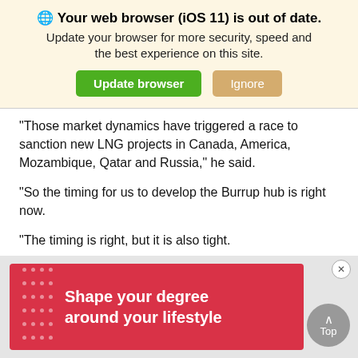[Figure (screenshot): Browser out-of-date warning banner with globe icon, bold title 'Your web browser (iOS 11) is out of date.', subtitle text, and two buttons: green 'Update browser' and tan 'Ignore']
“Those market dynamics have triggered a race to sanction new LNG projects in Canada, America, Mozambique, Qatar and Russia,” he said.
“So the timing for us to develop the Burrup hub is right now.
“The timing is right, but it is also tight.
“We’ve set ambitious timelines so that we can deliver LNG right
[Figure (screenshot): Red advertisement banner reading 'Shape your degree around your lifestyle' with dot pattern on left, and a grey 'Top' button with upward arrow on the right]